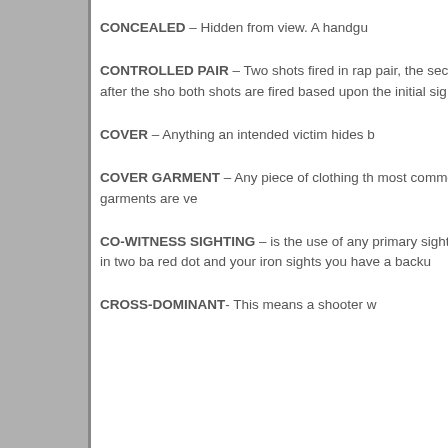CONCEALED – Hidden from view. A handgun...
CONTROLLED PAIR – Two shots fired in rapid succession. In a controlled pair, the second shot will be fired after the shooter reacquires the sight picture; both shots are fired based upon the initial sight picture.
COVER – Anything an intended victim hides b...
COVER GARMENT – Any piece of clothing th... most common types of cover garments are ve...
CO-WITNESS SIGHTING – is the use of any... primary sighting system. They come in two ba... red dot and your iron sights you have a backu...
CROSS-DOMINANT- This means a shooter w...